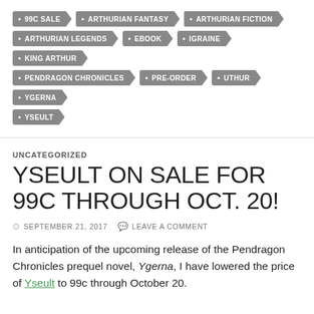99C SALE
ARTHURIAN FANTASY
ARTHURIAN FICTION
ARTHURIAN LEGENDS
EBOOK
IGRAINE
KING ARTHUR
PENDRAGON CHRONICLES
PRE-ORDER
UTHUR
YGERNA
YSEULT
UNCATEGORIZED
YSEULT ON SALE FOR 99C THROUGH OCT. 20!
SEPTEMBER 21, 2017   LEAVE A COMMENT
In anticipation of the upcoming release of the Pendragon Chronicles prequel novel, Ygerna, I have lowered the price of Yseult to 99c through October 20.